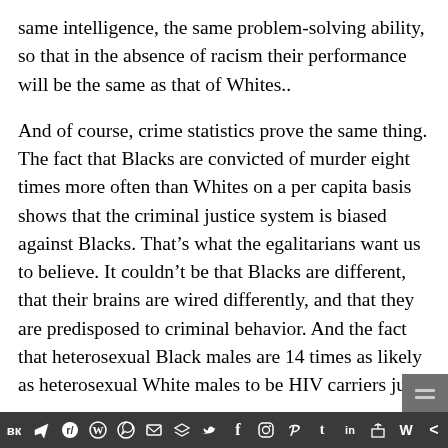same intelligence, the same problem-solving ability, so that in the absence of racism their performance will be the same as that of Whites..
And of course, crime statistics prove the same thing. The fact that Blacks are convicted of murder eight times more often than Whites on a per capita basis shows that the criminal justice system is biased against Blacks. That’s what the egalitarians want us to believe. It couldn’t be that Blacks are different, that their brains are wired differently, and that they are predisposed to criminal behavior. And the fact that heterosexual Black males are 14 times as likely as heterosexual White males to be HIV carriers just
[social media share icons: VK, Telegram, Reddit, WordPress, WhatsApp, Email, Buffer, Twitter, Facebook, Instagram, Pinterest, Tumblr, LinkedIn, Share, Weebly, More]